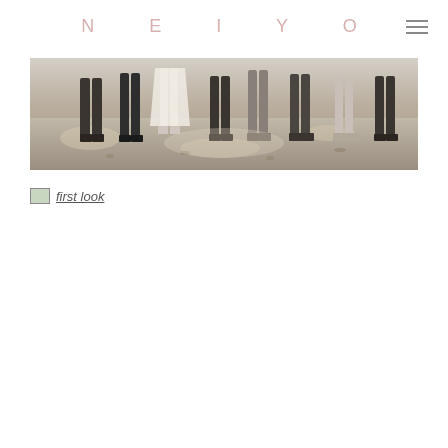NEIYO
[Figure (photo): A wide cropped photo showing the lower halves of a group of people standing on a dirt path in a wooded outdoor setting, with dappled sunlight and fallen leaves on the ground.]
first look